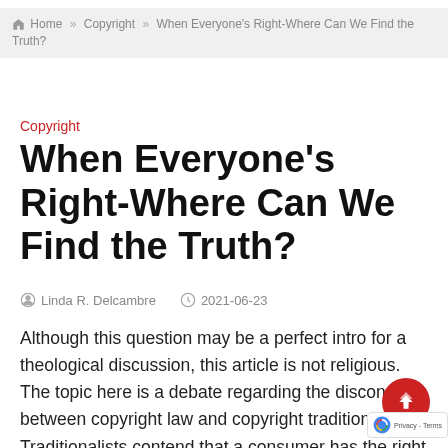Home » Copyright » When Everyone's Right-Where Can We Find the Truth?
Copyright
When Everyone's Right-Where Can We Find the Truth?
Linda R. Delcambre   2021-06-23
Although this question may be a perfect intro for a theological discussion, this article is not religious. The topic here is a debate regarding the disconnect between copyright law and copyright tradition. Traditionalists contend that a consumer has the right to archive or back up his or her digital entertainment media—a process generally called space-shifting or format-shifting. On the other hand, advocates of digital